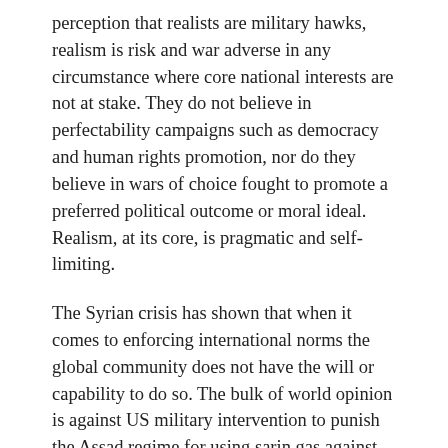perception that realists are military hawks, realism is risk and war adverse in any circumstance where core national interests are not at stake. They do not believe in perfectability campaigns such as democracy and human rights promotion, nor do they believe in wars of choice fought to promote a preferred political outcome or moral ideal. Realism, at its core, is pragmatic and self-limiting.
The Syrian crisis has shown that when it comes to enforcing international norms the global community does not have the will or capability to do so. The bulk of world opinion is against US military intervention to punish the Assad regime for using sarin gas against his civilian population (not once, but a total of at least eleven times in the past 18 months). This occurs in spite of the 1927 and 1993 international bans on chemical weapons and the 1997 international convention calling for the destruction of all chemical weapon stockpiles. The political leadership of the majority of nation-states oppose the use of force to punish Assad for his war crimes (I will